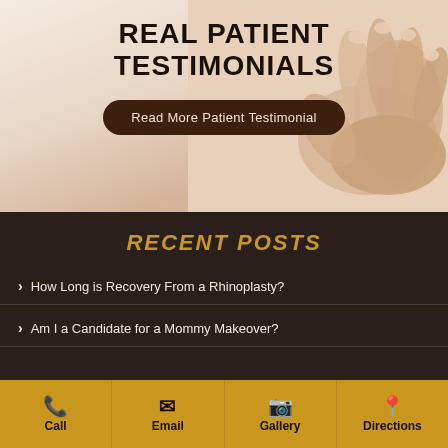[Figure (photo): Background image of hands clasped together on a light peach/beige background with the title 'Real Patient Testimonials' overlaid, and a dark brown rounded button reading 'Read More Patient Testimonial']
REAL PATIENT TESTIMONIALS
Read More Patient Testimonial
RECENT POSTS
How Long is Recovery From a Rhinoplasty?
Am I a Candidate for a Mommy Makeover?
Call | Email | Gallery | Directions